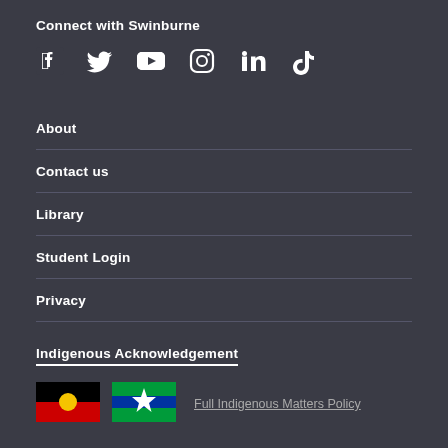Connect with Swinburne
[Figure (illustration): Social media icons: Facebook, Twitter, YouTube, Instagram, LinkedIn, TikTok]
About
Contact us
Library
Student Login
Privacy
Indigenous Acknowledgement
[Figure (illustration): Aboriginal flag and Torres Strait Islander flag]
Full Indigenous Matters Policy